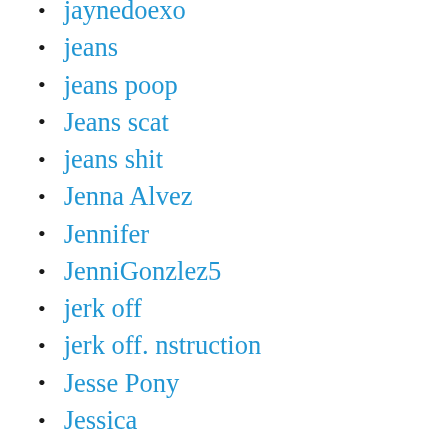jaynedoexo
jeans
jeans poop
Jeans scat
jeans shit
Jenna Alvez
Jennifer
JenniGonzlez5
jerk off
jerk off. nstruction
Jesse Pony
Jessica
Jessica Kay
JessicaKay
Jessiekaypoops
Jilbond Devita
JilbondDevita